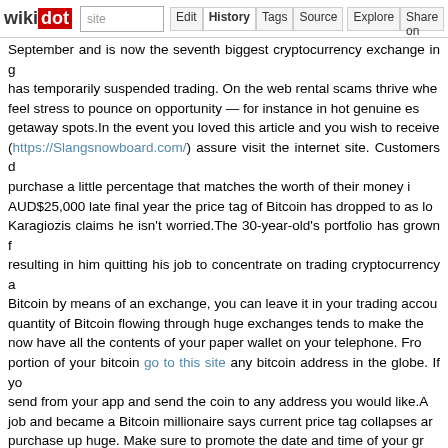wikidot | site | Edit | History | Tags | Source | Explore | Share on
September and is now the seventh biggest cryptocurrency exchange in g... has temporarily suspended trading. On the web rental scams thrive whe... feel stress to pounce on opportunity — for instance in hot genuine es... getaway spots.In the event you loved this article and you wish to receive (https://Slangsnowboard.com/) assure visit the internet site. Customers d... purchase a little percentage that matches the worth of their money i... AUD$25,000 late final year the price tag of Bitcoin has dropped to as lo... Karagiozis claims he isn't worried.The 30-year-old's portfolio has grown f... resulting in him quitting his job to concentrate on trading cryptocurrency a... Bitcoin by means of an exchange, you can leave it in your trading accou... quantity of Bitcoin flowing through huge exchanges tends to make the... now have all the contents of your paper wallet on your telephone. Fro... portion of your bitcoin go to this site any bitcoin address in the globe. If yo... send from your app and send the coin to any address you would like.A... job and became a Bitcoin millionaire says current price tag collapses a... purchase up huge. Make sure to promote the date and time of your gr... additional ad in the neighborhood paper, produce a social media accour... simpler to use. The only issue necessary from you to use Cryptomate... Joining the cryptocurrency revolution has never ever been simpler! Far m... your other assets. Take into account promoting stocks, bonds, or mutu... savings account.Create down your back up phrase on a piece of pape... Almost all bitcoin wallets will develop a 6 -24 word phrase that you can... backup phrase is not the identical as the password for your app. If you d... bitcoins forever! In addition, if someone else has access to that back... so secure that phrase like it was a gold nugget.When you invest you a... more and a lot more effective, and are really shaping investment alterna... of water moving forward, and simply because wellness is such a hot s... excellent notion. He says the important is to do your study — as always... don't put all your eggs in a single basket. ETF stands for exchange-trad...